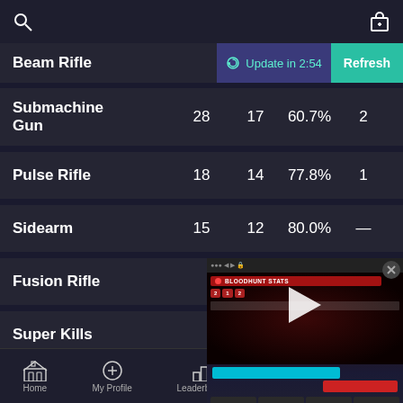Search | Gift
| Weapon | Kills | Wins | Win% | Best |
| --- | --- | --- | --- | --- |
| Beam Rifle | 40 |  |  |  |
| Submachine Gun | 28 | 17 | 60.7% | 2 |
| Pulse Rifle | 18 | 14 | 77.8% | 1 |
| Sidearm | 15 | 12 | 80.0% | — |
| Fusion Rifle | 11 |  |  |  |
| Super Kills | 11 |  |  |  |
| Grenade |  |  |  |  |
[Figure (screenshot): Bloodhunt Stats video overlay with play button, showing game statistics and weekly content thumbnails]
Home | My Profile | Leaderboards | Database | More